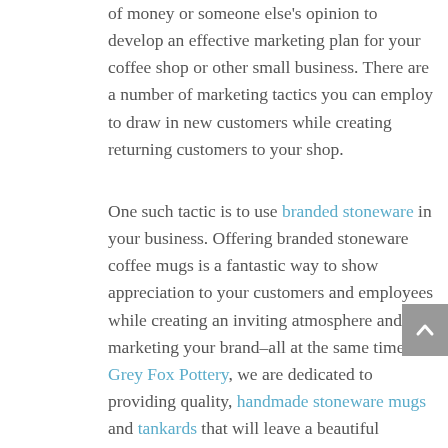of money or someone else's opinion to develop an effective marketing plan for your coffee shop or other small business. There are a number of marketing tactics you can employ to draw in new customers while creating returning customers to your shop.
One such tactic is to use branded stoneware in your business. Offering branded stoneware coffee mugs is a fantastic way to show appreciation to your customers and employees while creating an inviting atmosphere and marketing your brand–all at the same time! At Grey Fox Pottery, we are dedicated to providing quality, handmade stoneware mugs and tankards that will leave a beautiful impression on anyone who happens to hold one while visiting your business.